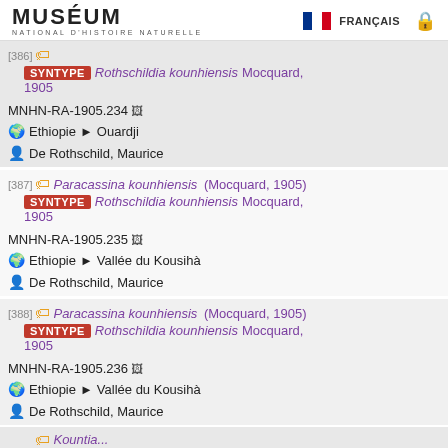MUSÉUM NATIONAL D'HISTOIRE NATURELLE — FRANÇAIS
[386] SYNTYPE Rothschildia kounhiensis Mocquard, 1905 MNHN-RA-1905.234 Ethiopie > Ouardji De Rothschild, Maurice
[387] Paracassina kounhiensis (Mocquard, 1905) SYNTYPE Rothschildia kounhiensis Mocquard, 1905 MNHN-RA-1905.235 Ethiopie > Vallée du Kousihà De Rothschild, Maurice
[388] Paracassina kounhiensis (Mocquard, 1905) SYNTYPE Rothschildia kounhiensis Mocquard, 1905 MNHN-RA-1905.236 Ethiopie > Vallée du Kousihà De Rothschild, Maurice